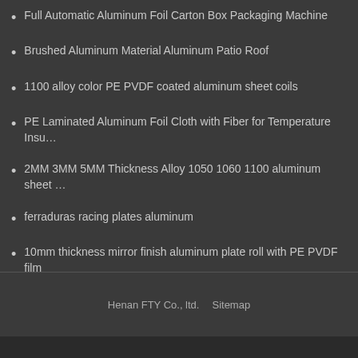Full Automatic Aluminum Foil Carton Box Packaging Machine
Brushed Aluminum Material Aluminum Patio Roof
1100 alloy color PE PVDF coated aluminum sheet coils
PE Laminated Aluminum Foil Cloth with Fiber for Temperature Insu…
2MM 3MM 5MM Thickness Alloy 1050 1060 1100 aluminum sheet …
ferraduras racing plates aluminum
10mm thickness mirror finish aluminum plate roll with PE PVDF film
Henan FTY Co., ltd.  Sitemap